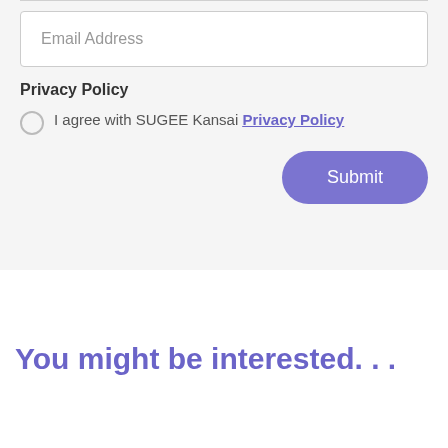Email Address
Privacy Policy
I agree with SUGEE Kansai Privacy Policy
Submit
You might be interested. . .